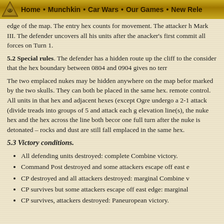Home • Munchkin • Car Wars • Our Games • New Rele
edge of the map. The entry hex counts for movement. The attacker h Mark III. The defender uncovers all his units after the anacker's first commit all forces on Turn 1.
5.2 Special rules. The defender has a hidden route up the cliff to the consider that the hex boundary between 0804 and 0904 gives no terr
The two emplaced nukes may be hidden anywhere on the map befor marked by the two skulls. They can both be placed in the same hex. remote control. All units in that hex and adjacent hexes (except Ogre undergo a 2-1 attack (divide treads into groups of 5 and attack each g elevation line(s), the nuke hex and the hex across the line both becor one full turn after the nuke is detonated – rocks and dust are still fall emplaced in the same hex.
5.3 Victory conditions.
All defending units destroyed: complete Combine victory.
Command Post destroyed and some attackers escape off east e
CP destroyed and all attackers destroyed: marginal Combine v
CP survives but some attackers escape off east edge: marginal
CP survives, attackers destroyed: Paneuropean victory.